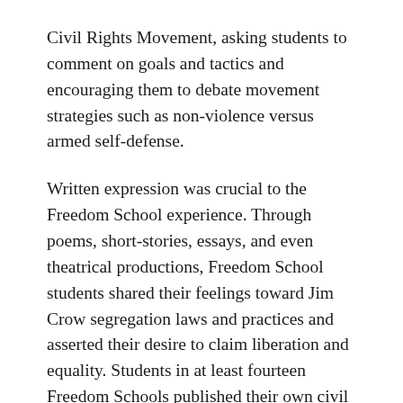Civil Rights Movement, asking students to comment on goals and tactics and encouraging them to debate movement strategies such as non-violence versus armed self-defense.
Written expression was crucial to the Freedom School experience. Through poems, short-stories, essays, and even theatrical productions, Freedom School students shared their feelings toward Jim Crow segregation laws and practices and asserted their desire to claim liberation and equality. Students in at least fourteen Freedom Schools published their own civil rights newsletters that contained an array of creative literary works and updates about local movement activities. The newspapers, which were distributed in the local Black community, were filled with the encouraging